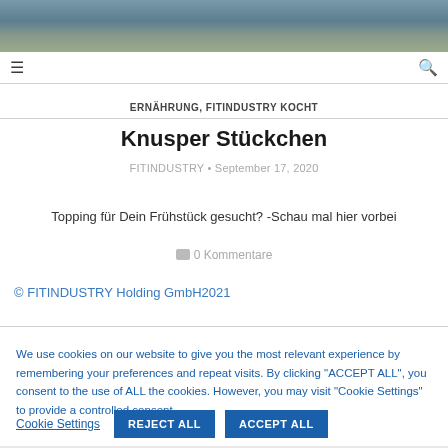[Figure (photo): Blurred outdoor photo with blue-grey and yellow tones at top of page]
≡  [navigation bar]  Q
ERNÄHRUNG, FITINDUSTRY KOCHT
Knusper Stückchen
FITINDUSTRY · September 17, 2020
Topping für Dein Frühstück gesucht? -Schau mal hier vorbei
0 Kommentare
© FITINDUSTRY Holding GmbH2021
We use cookies on our website to give you the most relevant experience by remembering your preferences and repeat visits. By clicking "ACCEPT ALL", you consent to the use of ALL the cookies. However, you may visit "Cookie Settings" to provide a controlled consent.
Cookie Settings   REJECT ALL   ACCEPT ALL